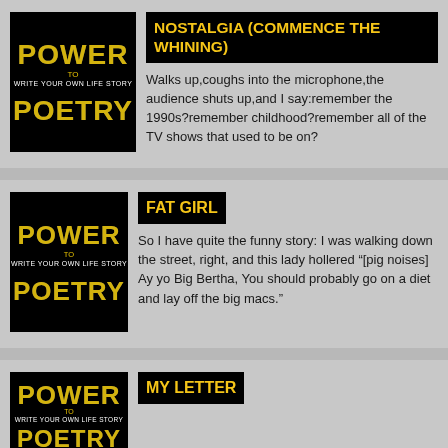[Figure (logo): Power Poetry logo on black background — POWER in large distressed yellow/white letters, 'Write Your Own Life Story' in small text, and 'POETRY' in large distressed letters below]
NOSTALGIA (COMMENCE THE WHINING)
Walks up,coughs into the microphone,the audience shuts up,and I say:remember the 1990s?remember childhood?remember all of the TV shows that used to be on?
[Figure (logo): Power Poetry logo on black background — POWER in large distressed yellow/white letters, 'Write Your Own Life Story' in small text, and 'POETRY' in large distressed letters below]
FAT GIRL
So I have quite the funny story: I was walking down the street, right, and this lady hollered "[pig noises] Ay yo Big Bertha, You should probably go on a diet and lay off the big macs."
[Figure (logo): Power Poetry logo on black background — POWER in large distressed yellow/white letters, 'Write Your Own Life Story' in small text, and 'POETRY' in large distressed letters below]
MY LETTER